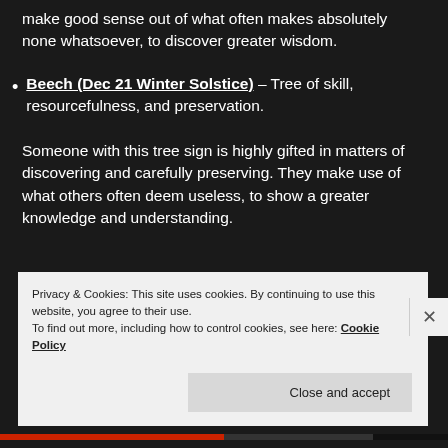make good sense out of what often makes absolutely none whatsoever, to discover greater wisdom.
Beech (Dec 21 Winter Solstice) – Tree of skill, resourcefulness, and preservation.
Someone with this tree sign is highly gifted in matters of discovering and carefully preserving. They make use of what others often deem useless, to show a greater knowledge and understanding.
Privacy & Cookies: This site uses cookies. By continuing to use this website, you agree to their use.
To find out more, including how to control cookies, see here: Cookie Policy